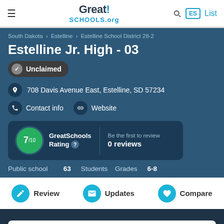Great!SCHOOLS.org
South Dakota › Estelline › Estelline School District 28-2
Estelline Jr. High - 03
Unclaimed
708 Davis Avenue East, Estelline, SD 57234
Contact info   Website
GreatSchools Rating 7/10 • Be the first to review • 0 reviews
Public school   63 Students   Grades 6-8
Review   Updates   Compare